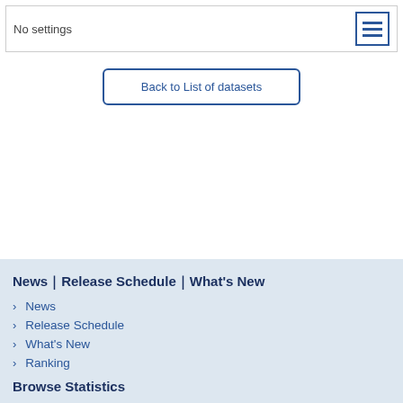No settings
Back to List of datasets
News｜Release Schedule｜What's New
News
Release Schedule
What's New
Ranking
Browse Statistics